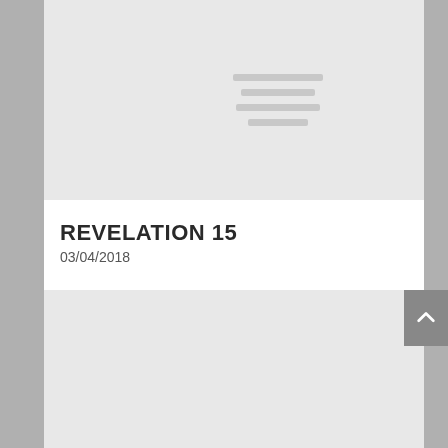[Figure (other): Gray placeholder image block at top of page with four horizontal gray lines in the center]
REVELATION 15
03/04/2018
[Figure (other): Gray placeholder image block at bottom of page with four horizontal gray lines in the center]